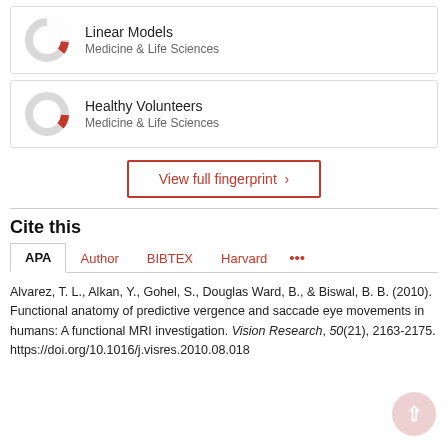[Figure (donut-chart): Donut chart icon for Linear Models fingerprint badge, partially filled in red]
Linear Models
Medicine & Life Sciences
[Figure (donut-chart): Donut chart icon for Healthy Volunteers fingerprint badge, partially filled in red]
Healthy Volunteers
Medicine & Life Sciences
View full fingerprint ›
Cite this
APA  Author  BIBTEX  Harvard  ···
Alvarez, T. L., Alkan, Y., Gohel, S., Douglas Ward, B., & Biswal, B. B. (2010). Functional anatomy of predictive vergence and saccade eye movements in humans: A functional MRI investigation. Vision Research, 50(21), 2163-2175.
https://doi.org/10.1016/j.visres.2010.08.018